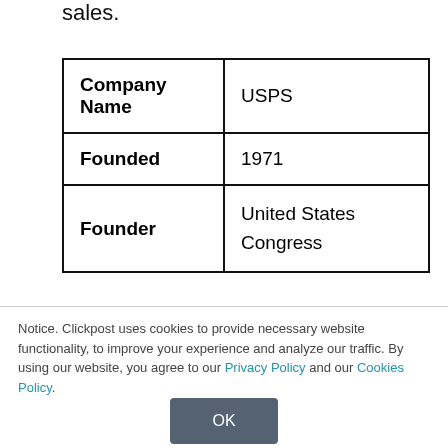sales.
| Company Name | USPS |
| Founded | 1971 |
| Founder | United States Congress |
Notice. Clickpost uses cookies to provide necessary website functionality, to improve your experience and analyze our traffic. By using our website, you agree to our Privacy Policy and our Cookies Policy.
OK